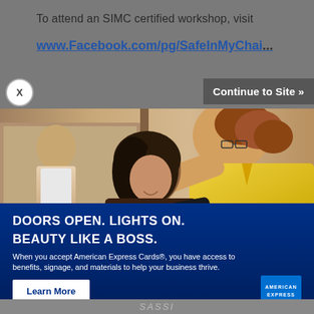To attend an SIMC certified workshop, visit
www.Facebook.com/pg/SafeInMyCha...
Continue to Site »
[Figure (photo): American Express advertisement showing a hair salon scene. A hairstylist in a yellow shirt is blow-drying a client's hair in a salon. In the background, another person is visible in a mirror. The lower portion has a dark blue background with white text reading 'DOORS OPEN. LIGHTS ON. BEAUTY LIKE A BOSS.' followed by body copy and a Learn More button. American Express logo is in the bottom right.]
DOORS OPEN. LIGHTS ON. BEAUTY LIKE A BOSS.
When you accept American Express Cards®, you have access to benefits, signage, and materials to help your business thrive.
Learn More